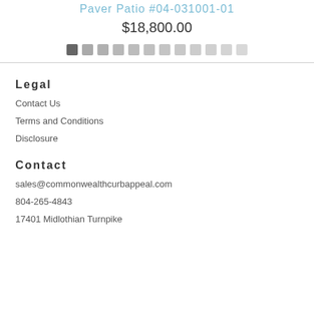Paver Patio #04-031001-01
$18,800.00
Legal
Contact Us
Terms and Conditions
Disclosure
Contact
sales@commonwealthcurbappeal.com
804-265-4843
17401 Midlothian Turnpike